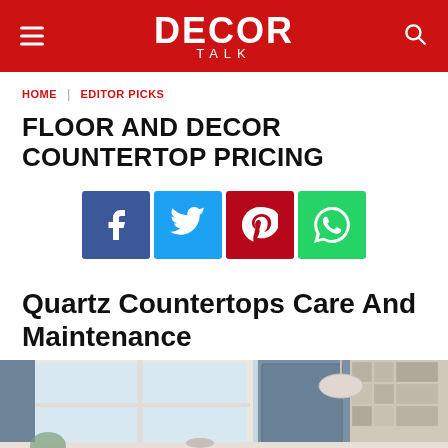DECOR TALK
HOME | EDITOR PICKS
FLOOR AND DECOR COUNTERTOP PRICING
[Figure (other): Social media share buttons: Facebook, Twitter, Pinterest, WhatsApp]
Quartz Countertops Care And Maintenance
[Figure (photo): Kitchen interior with blue-grey cabinets, large windows, and decorative tile backsplash]